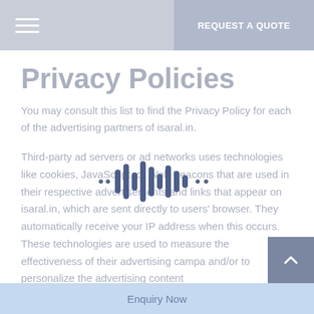REQUEST A QUOTE
Privacy Policies
You may consult this list to find the Privacy Policy for each of the advertising partners of isaral.in.
Third-party ad servers or ad networks uses technologies like cookies, JavaScript, or Web Beacons that are used in their respective advertisements and links that appear on isaral.in, which are sent directly to users' browser. They automatically receive your IP address when this occurs. These technologies are used to measure the effectiveness of their advertising campa and/or to personalize the advertising content
Enquiry Now